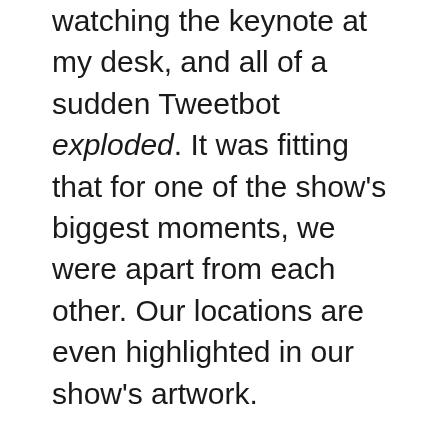watching the keynote at my desk, and all of a sudden Tweetbot exploded. It was fitting that for one of the show's biggest moments, we were apart from each other. Our locations are even highlighted in our show's artwork.
In our six years podcasting together, Federico has gone from a coworker to a dear and trusted friend. We may not get to see each other more than a couple of times a year at best, but what we record every Wednesday is just the tip of the conversations we hold throughout the week.
I've seen Federico go through rough times with his health, but he's come out the other side stronger than ever. I've watched him agonize over things like iOS reviews, just to publish the best iOS-centric content on the Internet. It's been exciting to